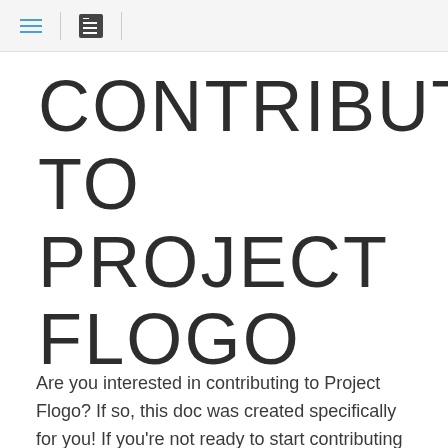[hamburger icon] | [list icon]
CONTRIBUTING TO PROJECT FLOGO
Are you interested in contributing to Project Flogo? If so, this doc was created specifically for you! If you're not ready to start contributing code, no problem, feel free to check out the documentation issues and begin